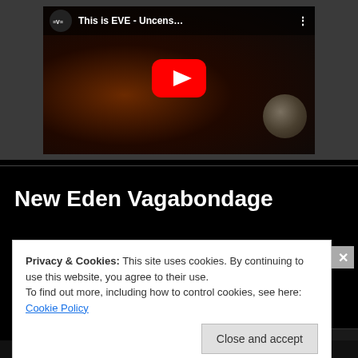[Figure (screenshot): YouTube video thumbnail showing 'This is EVE - Uncens...' with EVE logo, play button, and space background with planet]
New Eden Vagabondage
Privacy & Cookies: This site uses cookies. By continuing to use this website, you agree to their use.
To find out more, including how to control cookies, see here: Cookie Policy
Close and accept